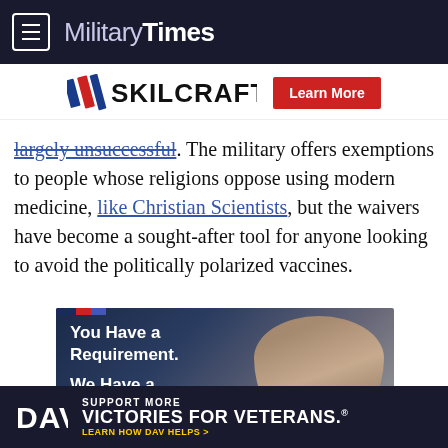MilitaryTimes
[Figure (other): SKILCRAFT logo advertisement banner with 'Learn More' button]
largely unsuccessful. The military offers exemptions to people whose religions oppose using modern medicine, like Christian Scientists, but the waivers have become a sought-after tool for anyone looking to avoid the politically polarized vaccines.
[Figure (photo): Advertisement image showing a man smiling with text 'You Have a Requirement. We Have a Solution.']
DAV — SUPPORT MORE VICTORIES FOR VETERANS. LEARN HOW DAV HELPS >